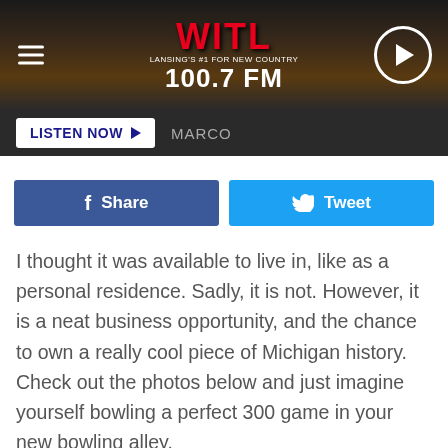[Figure (screenshot): WITL 100.7 FM Lansing radio station website header with logo, hamburger menu, and play button on dark wood-textured background]
LISTEN NOW ▶   MARCO
[Figure (screenshot): Facebook Share button (blue) and Twitter Tweet button (cyan) side by side]
I thought it was available to live in, like as a personal residence. Sadly, it is not. However, it is a neat business opportunity, and the chance to own a really cool piece of Michigan history. Check out the photos below and just imagine yourself bowling a perfect 300 game in your new bowling alley.
Gallery Credit: Kristen Matthews
[Figure (photo): Exterior photo of building with trees in foreground and blue sky]